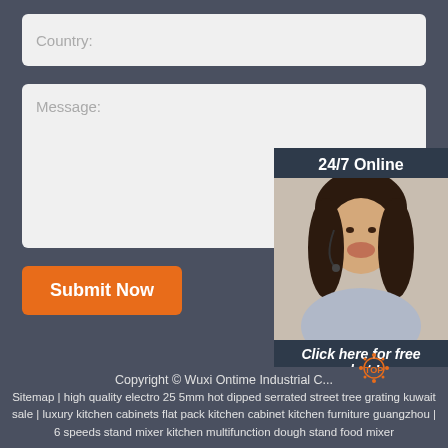Country:
Message:
Submit Now
24/7 Online
[Figure (photo): Customer service representative woman with headset smiling]
Click here for free chat !
QUOTATION
Copyright © Wuxi Ontime Industrial C... Sitemap | high quality electro 25 5mm hot dipped serrated street tree grating kuwait sale | luxury kitchen cabinets flat pack kitchen cabinet kitchen furniture guangzhou | 6 speeds stand mixer kitchen multifunction dough stand food mixer